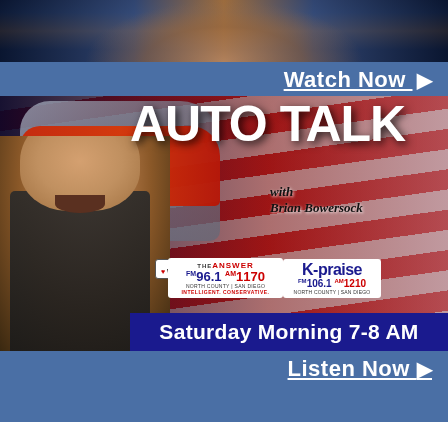[Figure (photo): Top portion of a man photographed against a sunset pier background]
Watch Now ▶
[Figure (photo): Auto Talk with Brian Bowersock radio show advertisement banner featuring a bald man, red truck, American flag background, The Answer FM 96.1 AM 1170 and K-Praise FM 106.1 AM 1210 radio station logos, Saturday Morning 7-8 AM]
Listen Now ▶